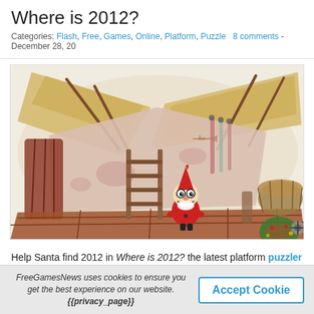Where is 2012?
Categories: Flash, Free, Games, Online, Platform, Puzzle   8 comments - December 28, 20...
[Figure (illustration): Watercolor-style illustration of a gnome/Santa character with a red pointed hat and big eyes, standing in a barn-like interior with a wooden ladder, wooden floor, straw roof, and Christmas wreath in the bottom right corner.]
Help Santa find 2012 in Where is 2012? the latest platform puzzler from Mateusz...
FreeGamesNews uses cookies to ensure you get the best experience on our website. {{privacy_page}}